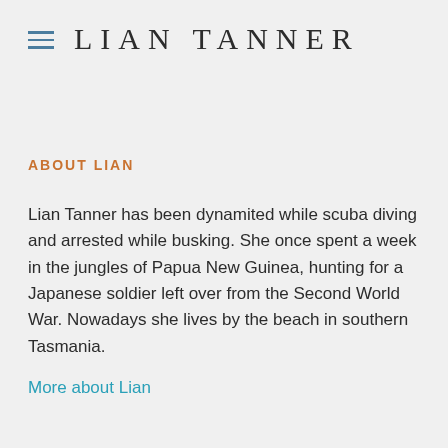LIAN TANNER
ABOUT LIAN
Lian Tanner has been dynamited while scuba diving and arrested while busking. She once spent a week in the jungles of Papua New Guinea, hunting for a Japanese soldier left over from the Second World War. Nowadays she lives by the beach in southern Tasmania.
More about Lian